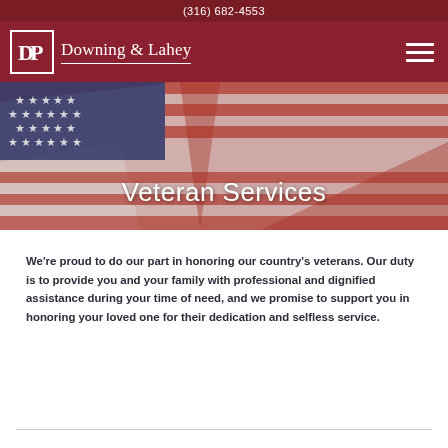(316) 682-4553
[Figure (logo): Downing & Lahey funeral home logo with DP monogram in a bordered box]
[Figure (photo): American flag close-up photo used as hero banner background]
Veteran Services
We're proud to do our part in honoring our country's veterans. Our duty is to provide you and your family with professional and dignified assistance during your time of need, and we promise to support you in honoring your loved one for their dedication and selfless service.